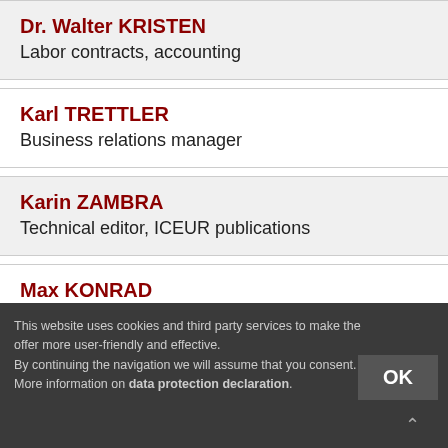Dr. Walter KRISTEN
Labor contracts, accounting
Karl TRETTLER
Business relations manager
Karin ZAMBRA
Technical editor, ICEUR publications
Max KONRAD
Fellow, Administration
This website uses cookies and third party services to make the offer more user-friendly and effective.
By continuing the navigation we will assume that you consent. More information on data protection declaration.